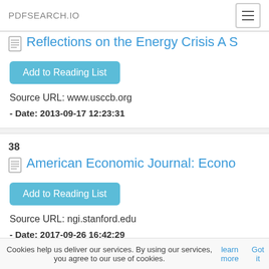PDFSEARCH.IO
Reflections on the Energy Crisis A S
Add to Reading List
Source URL: www.usccb.org
- Date: 2013-09-17 12:23:31
38
American Economic Journal: Econo
Add to Reading List
Source URL: ngi.stanford.edu
- Date: 2017-09-26 16:42:29
39
Cookies help us deliver our services. By using our services, you agree to our use of cookies. learn more Got it